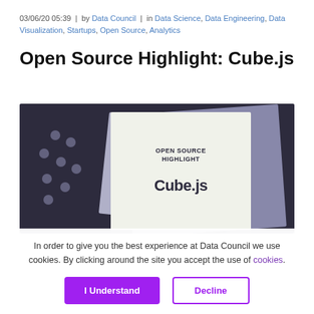03/06/20 05:39  |  by Data Council  |  in Data Science, Data Engineering, Data Visualization, Startups, Open Source, Analytics
Open Source Highlight: Cube.js
[Figure (illustration): Dark purple banner image with dot pattern on left and a white/light green card showing 'OPEN SOURCE HIGHLIGHT' and 'Cube.js' in bold]
In order to give you the best experience at Data Council we use cookies. By clicking around the site you accept the use of cookies.